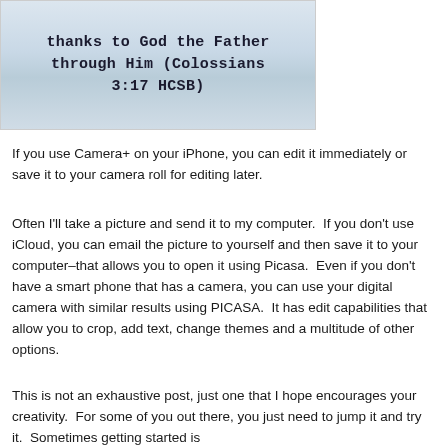[Figure (photo): A photo of a handwritten note on torn paper with blue watercolor background reading 'thanks to God the Father through Him (Colossians 3:17 HCSB)']
If you use Camera+ on your iPhone, you can edit it immediately or save it to your camera roll for editing later.
Often I'll take a picture and send it to my computer.  If you don't use iCloud, you can email the picture to yourself and then save it to your computer–that allows you to open it using Picasa.  Even if you don't have a smart phone that has a camera, you can use your digital camera with similar results using PICASA.  It has edit capabilities that allow you to crop, add text, change themes and a multitude of other options.
This is not an exhaustive post, just one that I hope encourages your creativity.  For some of you out there, you just need to jump it and try it.  Sometimes getting started is